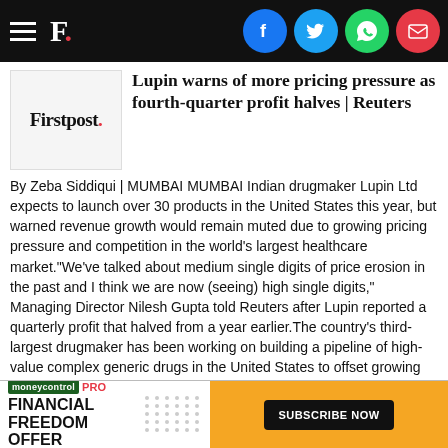Firstpost. [navigation bar with social icons: Facebook, Twitter, WhatsApp, Email]
[Figure (logo): Firstpost logo in grey box]
Lupin warns of more pricing pressure as fourth-quarter profit halves | Reuters
By Zeba Siddiqui | MUMBAI MUMBAI Indian drugmaker Lupin Ltd expects to launch over 30 products in the United States this year, but warned revenue growth would remain muted due to growing pricing pressure and competition in the world’s largest healthcare market.“We’ve talked about medium single digits of price erosion in the past and I think we are now (seeing) high single digits,” Managing Director Nilesh Gupta told Reuters after Lupin reported a quarterly profit that halved from a year earlier.The country’s third-largest drugmaker has been working on building a pipeline of high-value complex generic drugs in the United States to offset growing competition in plain generics. But a consolidation among drug distributors has hit generic companies’ ability to negotiate on prices, and price hikes have also become harder to justify amid regulatory scrutiny.“Competition is increasing and (distributors) are getting more powerful than ever b[...] nch more t[...] small to me[...] tive
[Figure (infographic): MoneyControl PRO ad banner: FINANCIAL FREEDOM OFFER with SUBSCRIBE NOW button on orange background]